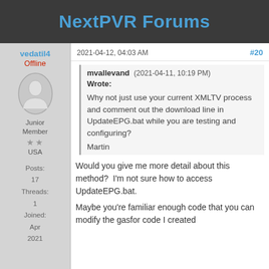NextPVR Forums
vedatil4
Offline
Junior Member
★★
USA
Posts: 17
Threads: 1
Joined: Apr 2021
2021-04-12, 04:03 AM   #20
mvallevand (2021-04-11, 10:19 PM) Wrote:

Why not just use your current XMLTV process and comment out the download line in UpdateEPG.bat while you are testing and configuring?

Martin
Would you give me more detail about this method?  I'm not sure how to access UpdateEPG.bat.

Maybe you're familiar enough code that you can modify the gasfor code I created